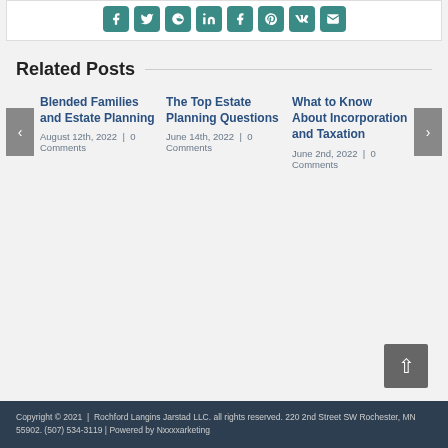[Figure (other): Social media sharing icons row: Facebook, Twitter, Reddit, LinkedIn, Tumblr, Pinterest, VK, Email — all teal/green rounded square buttons]
Related Posts
Blended Families and Estate Planning
August 12th, 2022 | 0 Comments
The Top Estate Planning Questions
June 14th, 2022 | 0 Comments
What to Know About Incorporation and Taxation
June 2nd, 2022 | 0 Comments
Copyright © 2021 | Rochford Langins Jarstad LLC. all rights reserved. 220 2nd Street SW Rochester, MN 55902. (507) 534-3119 | Powered by Nxxxxxmarketing